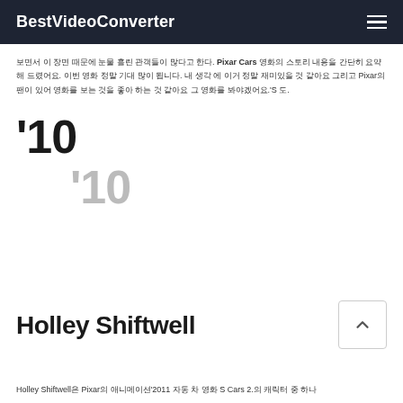BestVideoConverter
보면서 이 장면 때문에 눈물 흘린 관객들이 많다고 한다. Pixar Cars 영화의 스토리 내용을 간단히 요약해 드렸어요. 이번 영화 정말 기대 많이 됩니다. 내 생각 에 이거 정말 재미있을 것 같아요 그리고 Pixar의 팬이 있어 영화를 보는 것을 좋아 하는 것 같아요 그 영화를 봐야겠어요.'S 도.
'10
'10
Holley Shiftwell
Holley Shiftwell은 Pixar의 애니메이션'2011 자동 차 영화 S Cars 2.의 캐릭터 중 하나